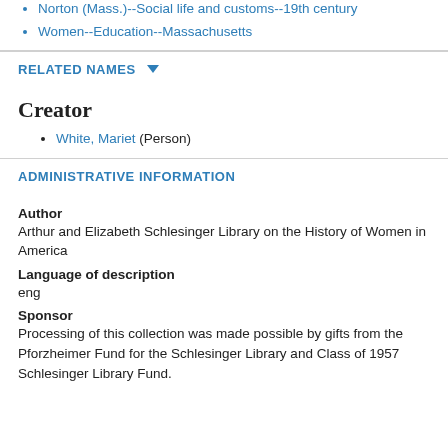Norton (Mass.)--Social life and customs--19th century
Women--Education--Massachusetts
RELATED NAMES
Creator
White, Mariet (Person)
ADMINISTRATIVE INFORMATION
Author
Arthur and Elizabeth Schlesinger Library on the History of Women in America
Language of description
eng
Sponsor
Processing of this collection was made possible by gifts from the Pforzheimer Fund for the Schlesinger Library and Class of 1957 Schlesinger Library Fund.